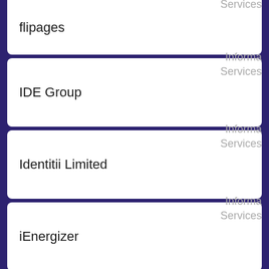| Company | Category |
| --- | --- |
| flipages | Information Services |
| IDE Group | Information Services |
| Identitii Limited | Information Services |
| iEnergizer | Information Services |
| Infosys Limited | Information Services |
| Ingenta | Information Services |
| Insight Enterprises, Inc. | Information Services |